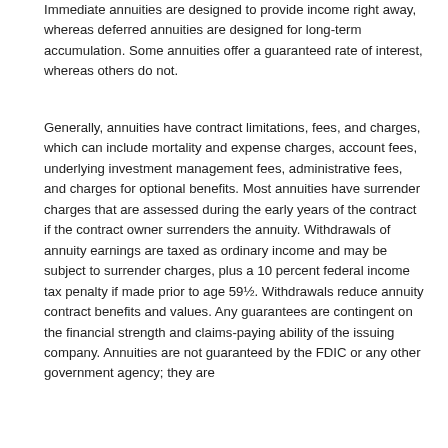Immediate annuities are designed to provide income right away, whereas deferred annuities are designed for long-term accumulation. Some annuities offer a guaranteed rate of interest, whereas others do not.
Generally, annuities have contract limitations, fees, and charges, which can include mortality and expense charges, account fees, underlying investment management fees, administrative fees, and charges for optional benefits. Most annuities have surrender charges that are assessed during the early years of the contract if the contract owner surrenders the annuity. Withdrawals of annuity earnings are taxed as ordinary income and may be subject to surrender charges, plus a 10 percent federal income tax penalty if made prior to age 59½. Withdrawals reduce annuity contract benefits and values. Any guarantees are contingent on the financial strength and claims-paying ability of the issuing company. Annuities are not guaranteed by the FDIC or any other government agency; they are